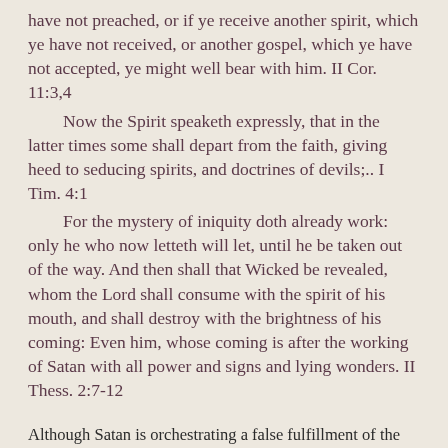have not preached, or if ye receive another spirit, which ye have not received, or another gospel, which ye have not accepted, ye might well bear with him. II Cor. 11:3,4
    Now the Spirit speaketh expressly, that in the latter times some shall depart from the faith, giving heed to seducing spirits, and doctrines of devils;.. I Tim. 4:1
    For the mystery of iniquity doth already work: only he who now letteth will let, until he be taken out of the way. And then shall that Wicked be revealed, whom the Lord shall consume with the spirit of his mouth, and shall destroy with the brightness of his coming: Even him, whose coming is after the working of Satan with all power and signs and lying wonders.  II Thess. 2:7-12
Although Satan is orchestrating a false fulfillment of the Joel prophecies, he is inadvertently being used by God to fulfill His will.